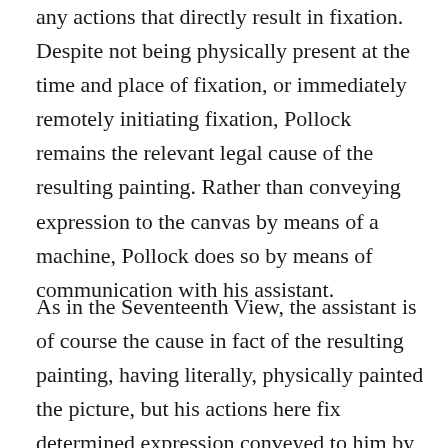any actions that directly result in fixation. Despite not being physically present at the time and place of fixation, or immediately remotely initiating fixation, Pollock remains the relevant legal cause of the resulting painting. Rather than conveying expression to the canvas by means of a machine, Pollock does so by means of communication with his assistant.
As in the Seventeenth View, the assistant is of course the cause in fact of the resulting painting, having literally, physically painted the picture, but his actions here fix determined expression conveyed to him by Pollock. With the removal of the machine